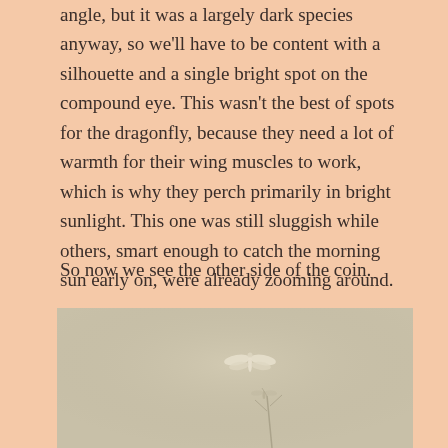angle, but it was a largely dark species anyway, so we'll have to be content with a silhouette and a single bright spot on the compound eye. This wasn't the best of spots for the dragonfly, because they need a lot of warmth for their wing muscles to work, which is why they perch primarily in bright sunlight. This one was still sluggish while others, smart enough to catch the morning sun early on, were already zooming around.
So now we see the other side of the coin.
[Figure (photo): A muted, hazy photograph showing a dragonfly in mid-flight near the top center of the image, and what appears to be a plant stem or perch structure in the lower center-right area, all against a soft beige-grey background.]